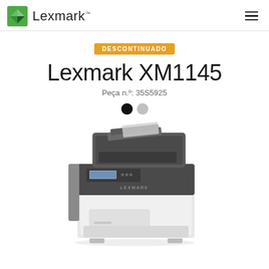[Figure (logo): Lexmark logo with green diamond icon and Lexmark wordmark with TM symbol]
DESCONTINUADO
Lexmark XM1145
Peça n.º: 35S5925
[Figure (photo): Lexmark XM1145 multifunction printer in black and white/light gray color, showing ADF on top, control panel, and paper tray. Color swatches: black (selected) and gray.]
[Figure (other): Small white/gray box in bottom right corner (possibly a chat widget or UI element)]